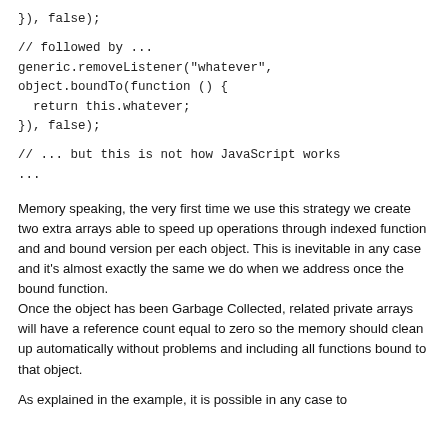}), false);
// followed by ...
generic.removeListener("whatever",
object.boundTo(function () {
  return this.whatever;
}), false);
// ... but this is not how JavaScript works
...
Memory speaking, the very first time we use this strategy we create two extra arrays able to speed up operations through indexed function and and bound version per each object. This is inevitable in any case and it's almost exactly the same we do when we address once the bound function.
Once the object has been Garbage Collected, related private arrays will have a reference count equal to zero so the memory should clean up automatically without problems and including all functions bound to that object.
As explained in the example, it is possible in any case to